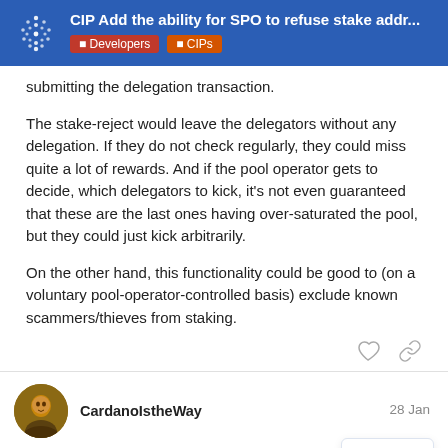CIP Add the ability for SPO to refuse stake addr... | Developers | CIPs
submitting the delegation transaction.
The stake-reject would leave the delegators without any delegation. If they do not check regularly, they could miss quite a lot of rewards. And if the pool operator gets to decide, which delegators to kick, it's not even guaranteed that these are the last ones having over-saturated the pool, but they could just kick arbitrarily.
On the other hand, this functionality could be good to (on a voluntary pool-operator-controlled basis) exclude known scammers/thieves from staking.
CardanoIstheWay   28 Jan
3 / 30
Perhaps include a “switch” for SPOs to bla